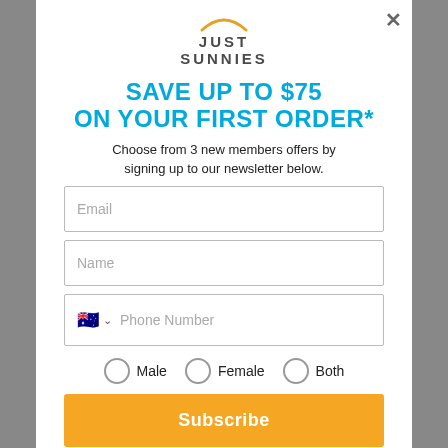[Figure (logo): Just Sunnies logo with orange arc above text]
SAVE UP TO $75
ON YOUR FIRST ORDER*
Choose from 3 new members offers by signing up to our newsletter below.
Email (form field)
Name (form field)
Phone Number (form field with Australian flag)
Male  Female  Both (radio buttons)
Subscribe (button)